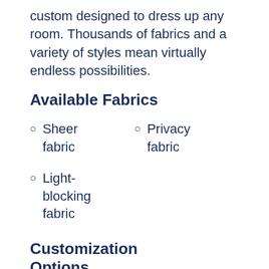custom designed to dress up any room. Thousands of fabrics and a variety of styles mean virtually endless possibilities.
Available Fabrics
Sheer fabric
Privacy fabric
Light-blocking fabric
Customization Options
Decorative
Multi-